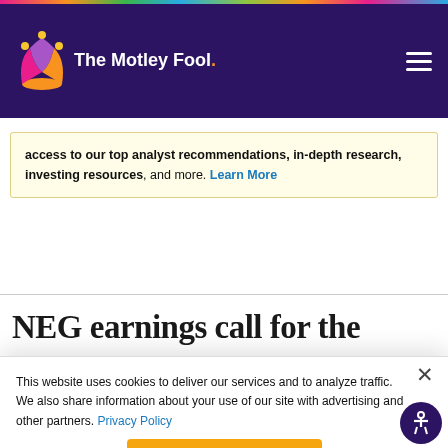The Motley Fool
access to our top analyst recommendations, in-depth research, investing resources, and more. Learn More
NEG earnings call for the
This website uses cookies to deliver our services and to analyze traffic. We also share information about your use of our site with advertising and other partners. Privacy Policy
Got it
Cookie Settings